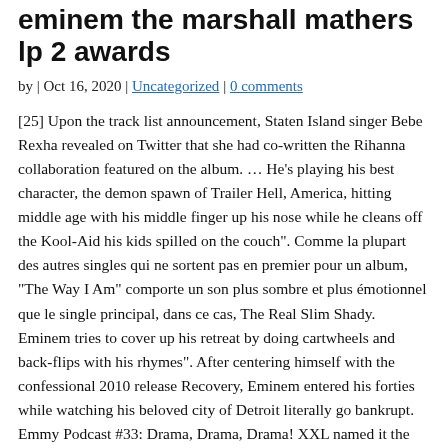eminem the marshall mathers lp 2 awards
by | Oct 16, 2020 | Uncategorized | 0 comments
[25] Upon the track list announcement, Staten Island singer Bebe Rexha revealed on Twitter that she had co-written the Rihanna collaboration featured on the album. … He's playing his best character, the demon spawn of Trailer Hell, America, hitting middle age with his middle finger up his nose while he cleans off the Kool-Aid his kids spilled on the couch". Comme la plupart des autres singles qui ne sortent pas en premier pour un album, "The Way I Am" comporte un son plus sombre et plus émotionnel que le single principal, dans ce cas, The Real Slim Shady. Eminem tries to cover up his retreat by doing cartwheels and back-flips with his rhymes". After centering himself with the confessional 2010 release Recovery, Eminem entered his forties while watching his beloved city of Detroit literally go bankrupt. Emmy Podcast #33: Drama, Drama, Drama! XXL named it the second best album of the year. Pour Craig Jenkins de Pitchfork, « Eminem est un titan avec les jeux de mots, mais MMLP2 le montre encore une fois embarrassé dans la façon d'appliquer ses talents »[101]. In June, Riley and members of his team flew to Detroit to meet Eminem and Rosenberg. "Rap God" has no balance at all, presenting Eminem as the ur-example of rap, the undisputed leader of the